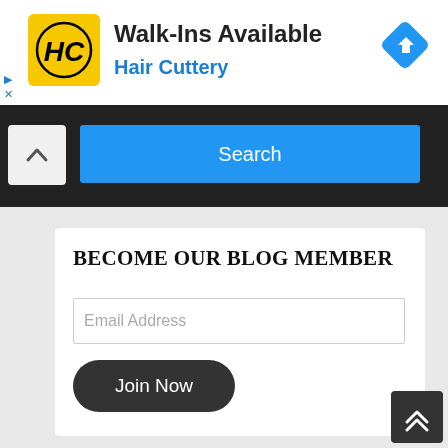[Figure (screenshot): Hair Cuttery advertisement banner with yellow HC logo, 'Walk-Ins Available' text, 'Hair Cuttery' in blue, and a blue navigation icon on the right]
[Figure (screenshot): Search bar area with black background, blue Search button, and a chevron/up arrow on the left]
BECOME OUR BLOG MEMBER
[Figure (screenshot): Email Address input field]
[Figure (screenshot): Join Now button, dark rounded pill shape]
[Figure (screenshot): Back to top button with double chevron up arrow, bottom right corner]